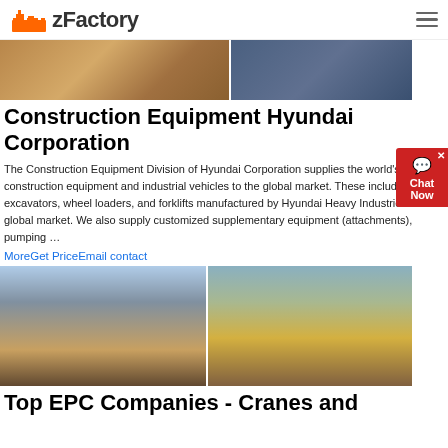zFactory
[Figure (photo): Two construction equipment images side by side - left shows industrial machinery on a trailer, right shows metal frame/conveyor equipment]
Construction Equipment Hyundai Corporation
The Construction Equipment Division of Hyundai Corporation supplies the world's best construction equipment and industrial vehicles to the global market. These include excavators, wheel loaders, and forklifts manufactured by Hyundai Heavy Industries to the global market. We also supply customized supplementary equipment (attachments), pumping …
MoreGet PriceEmail contact
[Figure (photo): Two construction/mining equipment images - left shows a portable jaw crusher on trailer, right shows a yellow mobile crusher/screener working on a hillside]
Top EPC Companies - Cranes and